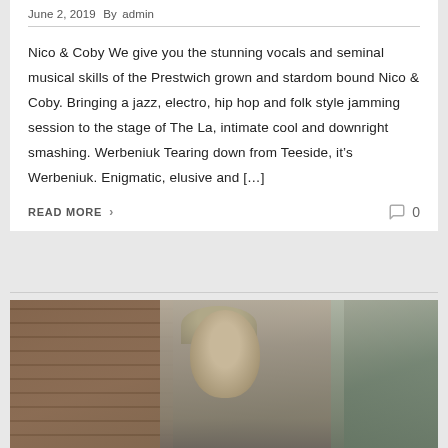June 2, 2019  By admin
Nico & Coby We give you the stunning vocals and seminal musical skills of the Prestwich grown and stardom bound Nico & Coby. Bringing a jazz, electro, hip hop and folk style jamming session to the stage of The La, intimate cool and downright smashing. Werbeniuk Tearing down from Teeside, it’s Werbeniuk. Enigmatic, elusive and […]
READ MORE  ›   0
[Figure (photo): A man standing in an urban alley with brick walls on the left and a stone or rendered wall on the right, photographed outdoors.]